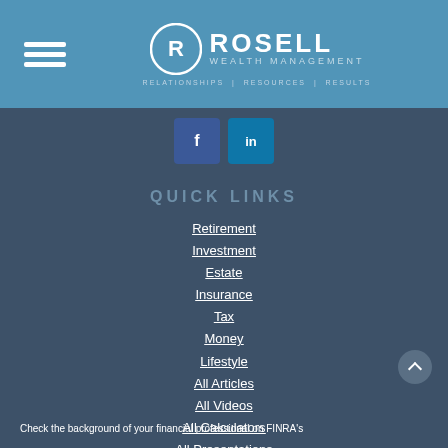ROSELL WEALTH MANAGEMENT | RELATIONSHIPS | RESOURCES | RESULTS
[Figure (other): Facebook and LinkedIn social media icon buttons]
Quick Links
Retirement
Investment
Estate
Insurance
Tax
Money
Lifestyle
All Articles
All Videos
All Calculators
All Presentations
Check the background of your financial professional on FINRA's